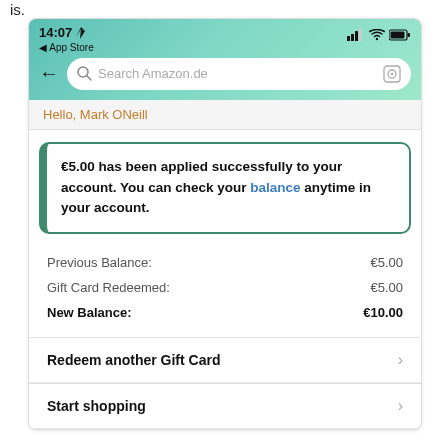is.
[Figure (screenshot): Amazon app screenshot showing a gift card redemption success screen. Status bar shows 14:07, App Store back link, signal/wifi/battery icons. Search bar reads 'Search Amazon.de'. Greeting 'Hello, Mark ONeill'. Success box: '€5.00 has been applied successfully to your account. You can check your balance anytime in your account.' Balance summary: Previous Balance €5.00, Gift Card Redeemed €5.00, New Balance €10.00. Action links: 'Redeem another Gift Card' and 'Start shopping'.]
Hello, Mark ONeill
€5.00 has been applied successfully to your account. You can check your balance anytime in your account.
|  |  |
| --- | --- |
| Previous Balance: | €5.00 |
| Gift Card Redeemed: | €5.00 |
| New Balance: | €10.00 |
Redeem another Gift Card
Start shopping